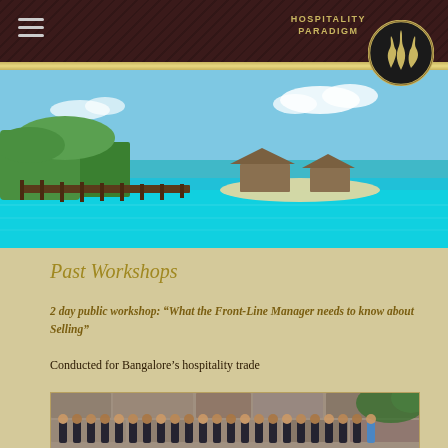HOSPITALITY PARADIGM
[Figure (photo): Tropical resort scene with turquoise water, wooden pier/dock extending into the sea, overwater bungalows in the background, lush green trees on a small island]
Past Workshops
2 day public workshop: “What the Front-Line Manager needs to know about Selling”
Conducted for Bangalore’s hospitality trade
[Figure (photo): Group photo of hospitality professionals in business attire standing in front of a stone wall with vegetation]